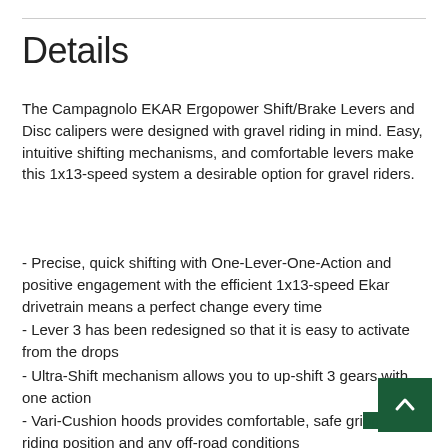Details
The Campagnolo EKAR Ergopower Shift/Brake Levers and Disc calipers were designed with gravel riding in mind. Easy, intuitive shifting mechanisms, and comfortable levers make this 1x13-speed system a desirable option for gravel riders.
- Precise, quick shifting with One-Lever-One-Action and positive engagement with the efficient 1x13-speed Ekar drivetrain means a perfect change every time
- Lever 3 has been redesigned so that it is easy to activate from the drops
- Ultra-Shift mechanism allows you to up-shift 3 gears with one action
- Vari-Cushion hoods provides comfortable, safe grip in any riding position and any off-road conditions
- Additional laser-cut texture on lever blades and controls is